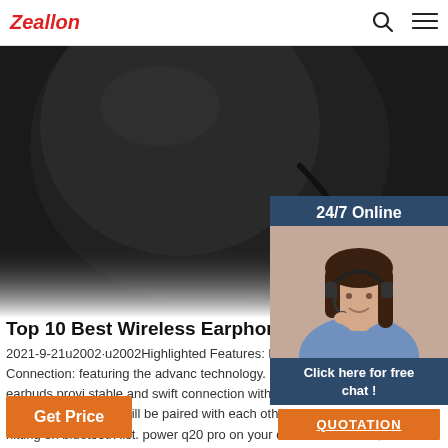Zeallon
[Figure (photo): Close-up photo of a black wireless earphone/earbud against a dark background]
[Figure (infographic): 24/7 Online chat widget showing a customer service agent with headset, 'Click here for free chat!' text and QUOTATION button]
Top 10 Best Wireless Earphones for GYM in
2021-9-21u2002·u2002Highlighted Features: Blue Enhance Stable Connection: featuring the advanc technology. motast sports wireless earbuds provi stable and swift connection without tangling. taken from the charging case, they will be paired with each other automatically, and just hitting on bluetooth list. power q20 pro on your device to connect, the one-step ...
Get Price